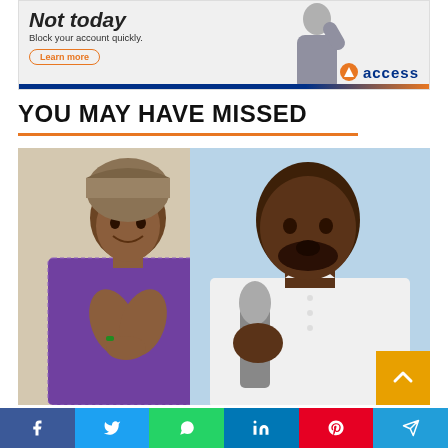[Figure (photo): Access Bank advertisement banner: 'Not today – Block your account quickly.' with Learn more button and Access bank logo, person raising fist in background]
YOU MAY HAVE MISSED
[Figure (photo): Two people side by side: a woman on the left wearing traditional African purple patterned dress and head wrap with hands in prayer pose, and a man on the right in white shirt speaking into a microphone]
[Figure (infographic): Social media share bar with Facebook, Twitter, WhatsApp, LinkedIn, Pinterest, and Telegram buttons]